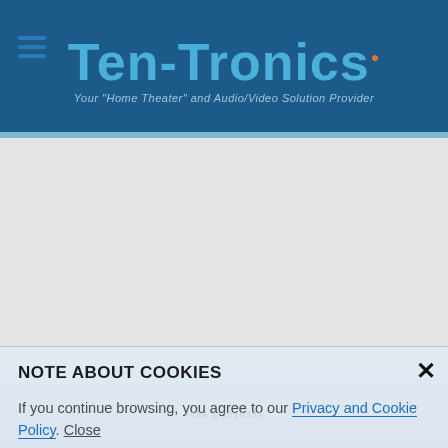Ten-Tronics — Your "Home Theater" and Audio/Video Solution Provider
[Figure (screenshot): Gray empty main content area of the Ten-Tronics website]
NOTE ABOUT COOKIES
If you continue browsing, you agree to our Privacy and Cookie Policy. Close